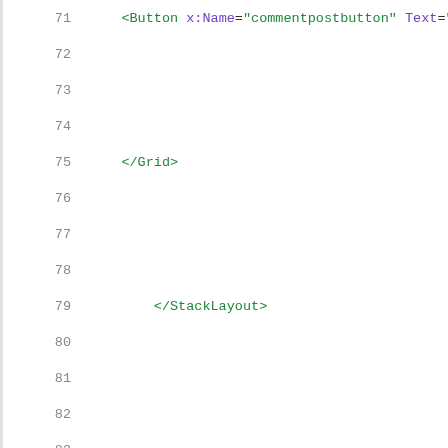71   <Button x:Name="commentpostbutton" Text="Po
72
73
74
75       </Grid>
76
77
78
79           </StackLayout>
80
81
82
83
84
85
86
87
88